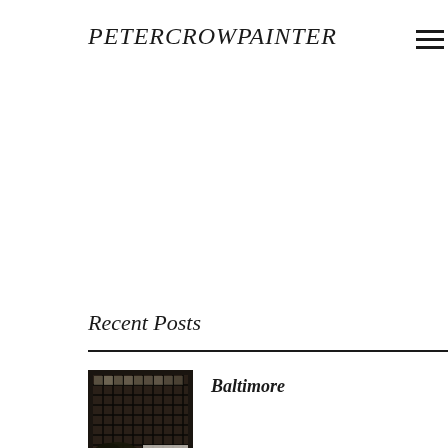PETERCROWPAINTER
Recent Posts
[Figure (photo): Thumbnail photograph of an interior room with large grid windows and a white wall]
Baltimore